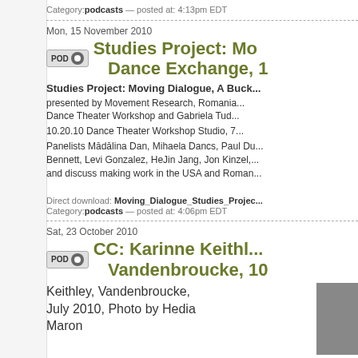Category: podcasts — posted at: 4:13pm EDT
Mon, 15 November 2010
Studies Project: Mo... Dance Exchange, 1
Studies Project: Moving Dialogue, A Buck...
presented by Movement Research, Romania... Dance Theater Workshop and Gabriela Tud...
10.20.10 Dance Theater Workshop Studio, 7...
Panelists Mādālina Dan, Mihaela Dancs, Paul Du... Bennett, Levi Gonzalez, HeJin Jang, Jon Kinzel,... and discuss making work in the USA and Roman...
Direct download: Moving_Dialogue_Studies_Projec... Category: podcasts — posted at: 4:06pm EDT
Sat, 23 October 2010
CC: Karinne Keithl... Vandenbroucke, 10
Keithley, Vandenbroucke, July 2010, Photo by Hedia Maron